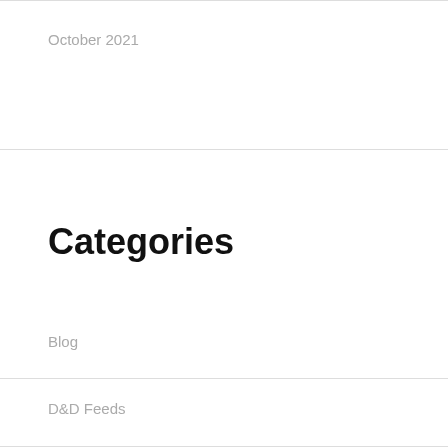October 2021
Categories
Blog
D&D Feeds
Latest D&D Articles